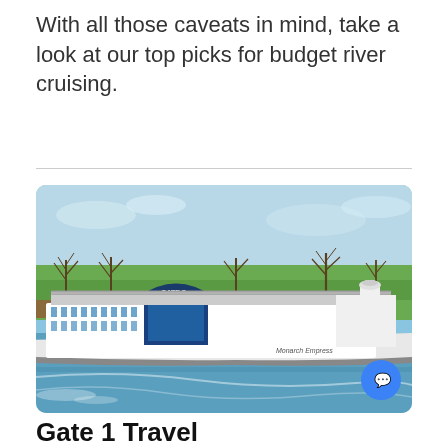With all those caveats in mind, take a look at our top picks for budget river cruising.
[Figure (photo): A large river cruise ship named 'Monarch Empress' traveling along a river, with green fields and bare trees in the background. The ship is white and blue with multiple decks and passengers visible on the upper deck.]
Gate 1 Travel